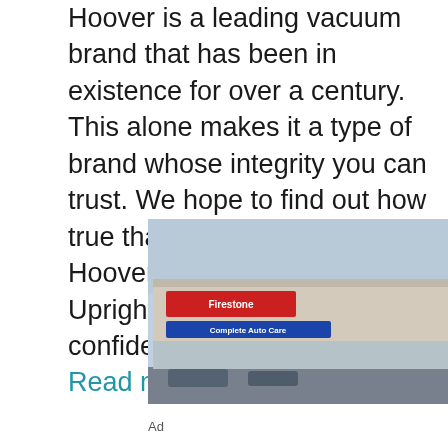Hoover is a leading vacuum brand that has been in existence for over a century. This alone makes it a type of brand whose integrity you can trust. We hope to find out how true that is as we look into its Hoover Wind Tunnel 3 Upright Vacuum. We can be confident to assume that … Read more
[Figure (photo): Photo of an auto service center building exterior with a red Firestone sign and blue banner, parking lot in foreground, cloudy sky background. Ad for oil change service.]
Get An Oil Change Near You
Ad